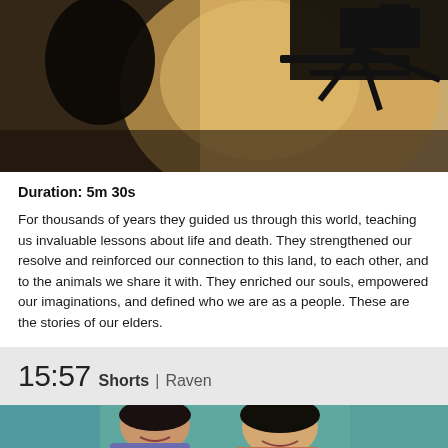[Figure (photo): Dark silhouette image showing a figure and camera equipment with warm amber/golden background lighting]
Duration: 5m 30s
For thousands of years they guided us through this world, teaching us invaluable lessons about life and death. They strengthened our resolve and reinforced our connection to this land, to each other, and to the animals we share it with. They enriched our souls, empowered our imaginations, and defined who we are as a people. These are the stories of our elders.
15:57 Shorts | Raven
[Figure (photo): Two women smiling and laughing together outdoors]